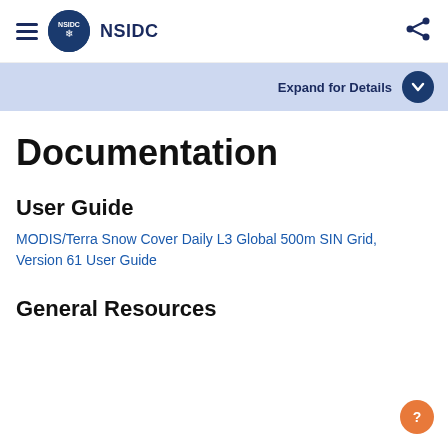NSIDC
Expand for Details
Documentation
User Guide
MODIS/Terra Snow Cover Daily L3 Global 500m SIN Grid, Version 61 User Guide
General Resources